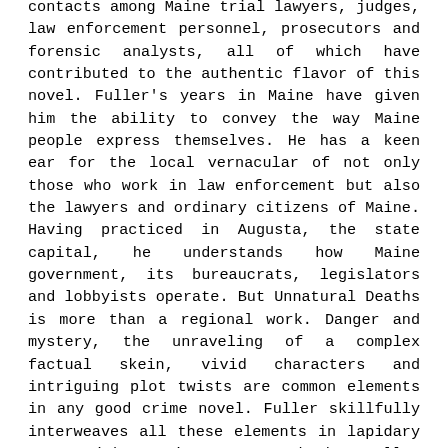contacts among Maine trial lawyers, judges, law enforcement personnel, prosecutors and forensic analysts, all of which have contributed to the authentic flavor of this novel. Fuller's years in Maine have given him the ability to convey the way Maine people express themselves. He has a keen ear for the local vernacular of not only those who work in law enforcement but also the lawyers and ordinary citizens of Maine. Having practiced in Augusta, the state capital, he understands how Maine government, its bureaucrats, legislators and lobbyists operate. But Unnatural Deaths is more than a regional work. Danger and mystery, the unraveling of a complex factual skein, vivid characters and intriguing plot twists are common elements in any good crime novel. Fuller skillfully interweaves all these elements in lapidary prose with a Maine accent. Whether Fuller is discussing the bureaucracy of Federal law enforcement, the general way in which murder investigations are conducted in Maine, or reminiscing about the details...